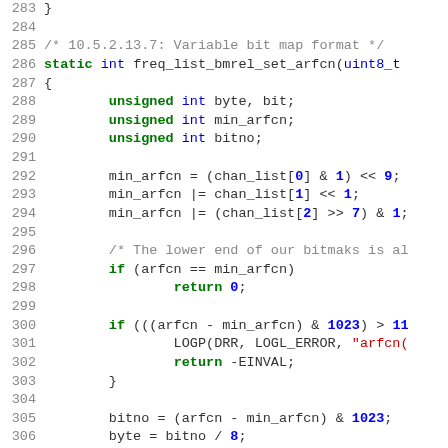Source code listing, lines 283-310, C language, freq_list_bmrel_set_arfcn function